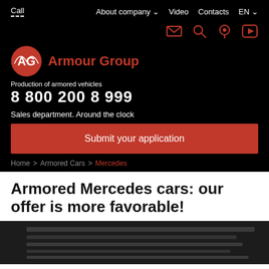Call | About company | Video | Contacts | EN
[Figure (logo): Armour Group logo with AG emblem in red circle and red text 'Armour Group']
Production of armored vehicles
8 800 200 8 999
Sales department. Around the clock
Submit your application
Home > Armored Cars > Mercedes
Armored Mercedes cars: our offer is more favorable!
[Figure (photo): Black and white photo of armored Mercedes vehicle exterior detail]